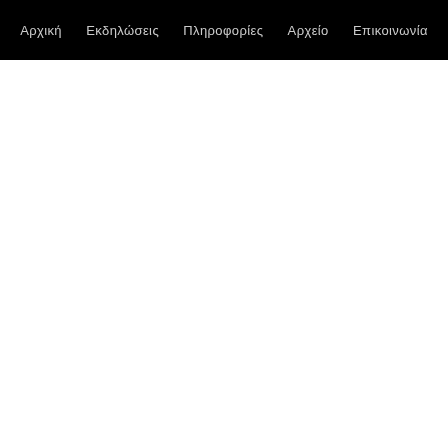Αρχική   Εκδηλώσεις   Πληροφορίες   Αρχείο   Επικοινωνία